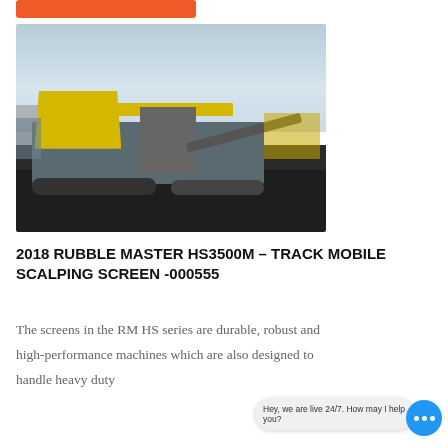[Figure (photo): 2018 Rubble Master HS3500M track mobile scalping screen machine on a paved lot, showing yellow hopper, gray tracks, conveyor belt, and screen box against a cloudy sky background.]
2018 RUBBLE MASTER HS3500M – TRACK MOBILE SCALPING SCREEN -000555
The screens in the RM HS series are durable, robust and high-performance machines which are also designed to handle heavy duty
Hey, we are live 24/7. How may I help you?